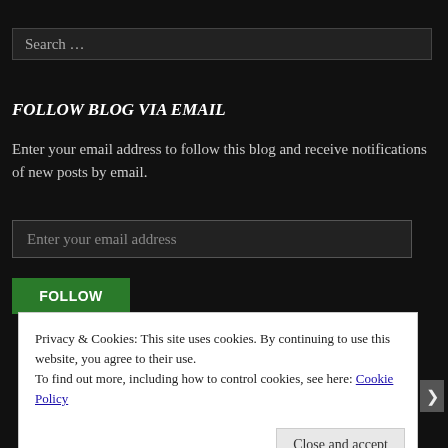[Figure (screenshot): Search input field with placeholder text 'Search ...' on dark background]
FOLLOW BLOG VIA EMAIL
Enter your email address to follow this blog and receive notifications of new posts by email.
[Figure (screenshot): Email input field with placeholder 'Enter your email address']
[Figure (screenshot): Green FOLLOW button]
Privacy & Cookies: This site uses cookies. By continuing to use this website, you agree to their use.
To find out more, including how to control cookies, see here: Cookie Policy
Close and accept